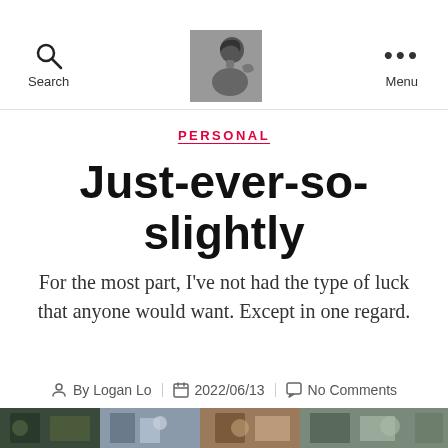Search | [profile photo] | Menu
PERSONAL
Just-ever-so-slightly
For the most part, I've not had the type of luck that anyone would want. Except in one regard.
By Logan Lo  2022/06/13  No Comments
[Figure (photo): Bottom strip showing partial photos of people and scenes]